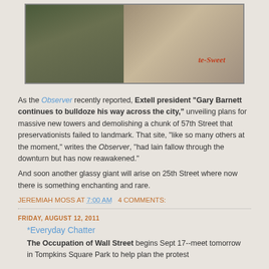[Figure (photo): Interior scene showing what appears to be a storage or workshop area with wooden crates/drawers, decorative items on wall including a colorful clown/scarecrow figure with orange hands, and white mask/head forms on a shelf in the background. A wooden crate with 'te-Sweet' text visible in red.]
As the Observer recently reported, Extell president "Gary Barnett continues to bulldoze his way across the city," unveiling plans for massive new towers and demolishing a chunk of 57th Street that preservationists failed to landmark. That site, "like so many others at the moment," writes the Observer, "had lain fallow through the downturn but has now reawakened."
And soon another glassy giant will arise on 25th Street where now there is something enchanting and rare.
JEREMIAH MOSS AT 7:00 AM   4 COMMENTS:
FRIDAY, AUGUST 12, 2011
*Everyday Chatter
The Occupation of Wall Street begins Sept 17--meet tomorrow in Tompkins Square Park to help plan the protest